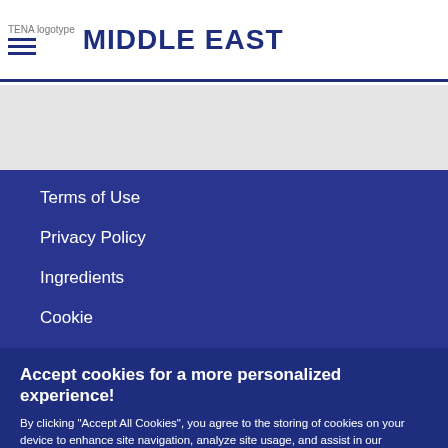TENA logotype MIDDLE EAST
Terms of Use
Privacy Policy
Ingredients
Cookie
Accept cookies for a more personalized experience!
By clicking “Accept All Cookies”, you agree to the storing of cookies on your device to enhance site navigation, analyze site usage, and assist in our marketing efforts.
Accept All Cookies
Manage your choices